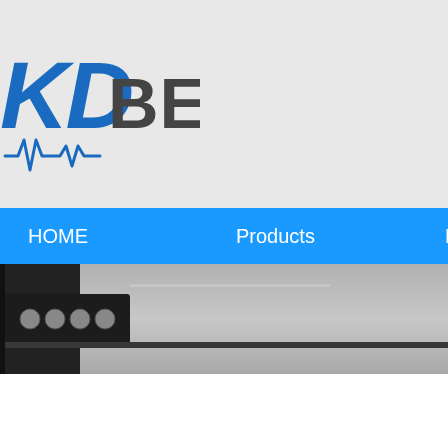[Figure (logo): KD Bearing company logo with blue KD letters and gray BEARING text, with a small waveform/heartbeat icon below]
HOME   Products   News
[Figure (photo): Close-up photo of a mechanical bearing component, dark metallic, on gray background]